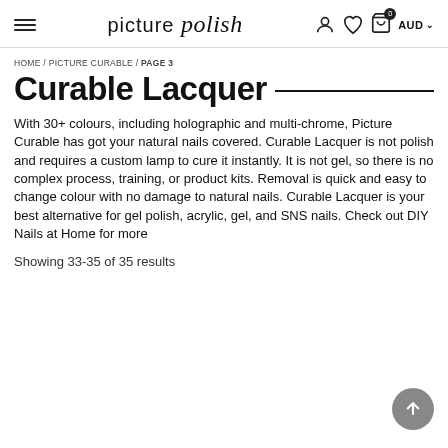picture polish — AUD
HOME / PICTURE CURABLE / PAGE 3
Curable Lacquer
With 30+ colours, including holographic and multi-chrome, Picture Curable has got your natural nails covered. Curable Lacquer is not polish and requires a custom lamp to cure it instantly. It is not gel, so there is no complex process, training, or product kits. Removal is quick and easy to change colour with no damage to natural nails. Curable Lacquer is your best alternative for gel polish, acrylic, gel, and SNS nails. Check out DIY Nails at Home for more
Showing 33-35 of 35 results